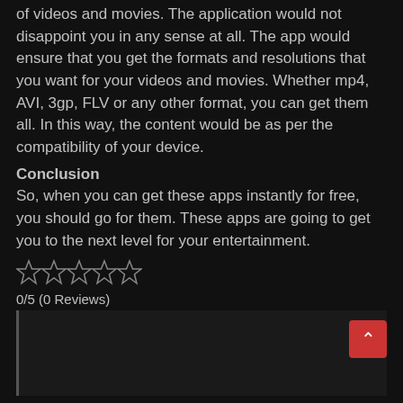of videos and movies. The application would not disappoint you in any sense at all. The app would ensure that you get the formats and resolutions that you want for your videos and movies. Whether mp4, AVI, 3gp, FLV or any other format, you can get them all. In this way, the content would be as per the compatibility of your device.
Conclusion
So, when you can get these apps instantly for free, you should go for them. These apps are going to get you to the next level for your entertainment.
[Figure (other): Five empty star rating icons in a row]
0/5 (0 Reviews)
[Figure (other): Comment/review box area, dark background with left border]